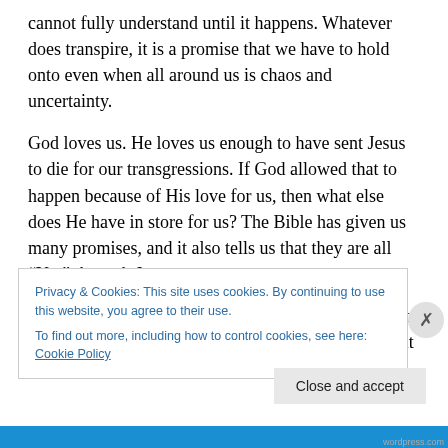cannot fully understand until it happens. Whatever does transpire, it is a promise that we have to hold onto even when all around us is chaos and uncertainty.
God loves us. He loves us enough to have sent Jesus to die for our transgressions. If God allowed that to happen because of His love for us, then what else does He have in store for us? The Bible has given us many promises, and it also tells us that they are all “Yes” through Jesus.
We don’t know when the last trumpet will sound, but we do know that if it is written in God’s Word, then it will happen
Privacy & Cookies: This site uses cookies. By continuing to use this website, you agree to their use.
To find out more, including how to control cookies, see here: Cookie Policy
Close and accept